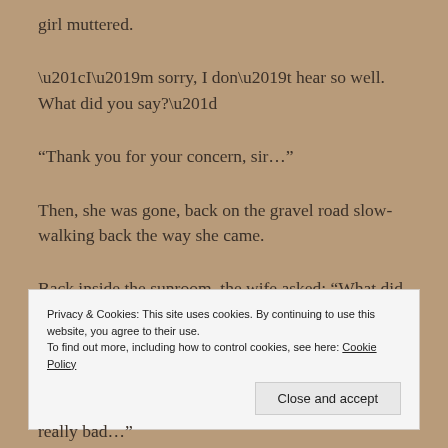girl muttered.
“I’m sorry, I don’t hear so well. What did you say?”
“Thank you for your concern, sir…”
Then, she was gone, back on the gravel road slow-walking back the way she came.
Back inside the sunroom, the wife asked: “What did she
Privacy & Cookies: This site uses cookies. By continuing to use this website, you agree to their use.
To find out more, including how to control cookies, see here: Cookie Policy
really bad…”